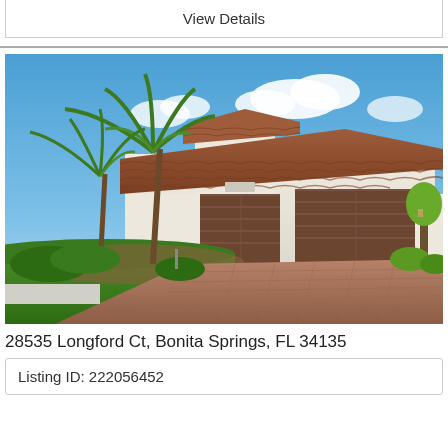View Details
[Figure (photo): Exterior photo of a single-story Florida home with a Mediterranean-style tile roof, three-car garage with brown doors, palm trees in the front yard, and a paver brick driveway. Blue sky with clouds in the background.]
28535 Longford Ct, Bonita Springs, FL 34135
Listing ID: 222056452